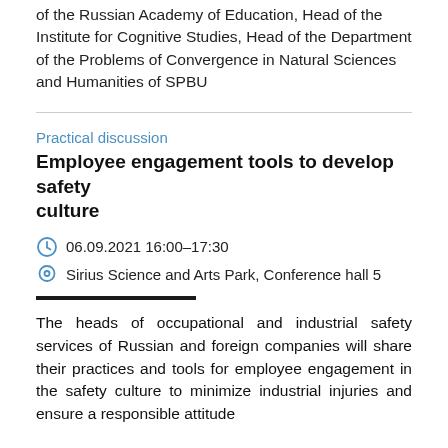of the Russian Academy of Education, Head of the Institute for Cognitive Studies, Head of the Department of the Problems of Convergence in Natural Sciences and Humanities of SPBU
Practical discussion
Employee engagement tools to develop safety culture
06.09.2021 16:00–17:30
Sirius Science and Arts Park, Conference hall 5
The heads of occupational and industrial safety services of Russian and foreign companies will share their practices and tools for employee engagement in the safety culture to minimize industrial injuries and ensure a responsible attitude